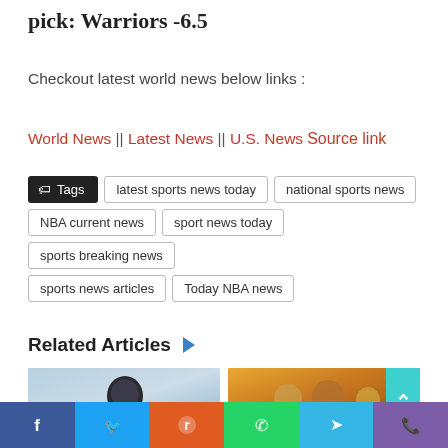pick: Warriors -6.5
Checkout latest world news below links :
World News || Latest News || U.S. News
Source link
Tags  latest sports news today  national sports news  NBA current news  sport news today  sports breaking news  sports news articles  Today NBA news
Related Articles
[Figure (photo): Left article thumbnail photo showing a person against blue/purple background]
[Figure (photo): Right article thumbnail photo showing basketball players]
Facebook  Twitter  Reddit  WhatsApp  Telegram  Phone